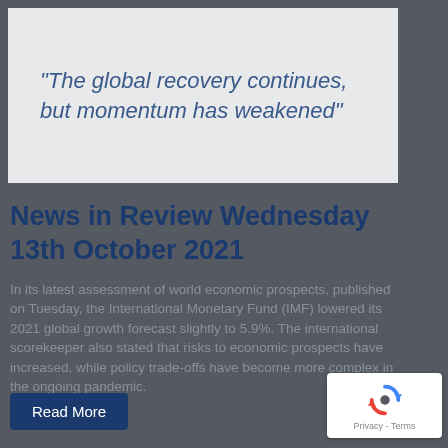“The global recovery continues, but momentum has weakened”
News in Review Wednesday 13th October 2021
In its latest assessment of world economic prospects, published on Tuesday, the International Monetary Fund (IMF) lowered its 2021 global growth forecast slightly to 5.9%. The international scorekeeper also stated that risks to economic prospects have increased, while policy trade-offs have become more complex in the ongoing pandemic.
Read More
[Figure (logo): Google reCAPTCHA widget showing recycle-arrows icon and Privacy - Terms text]